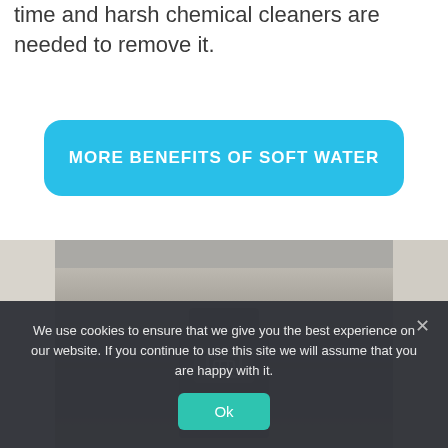time and harsh chemical cleaners are needed to remove it.
[Figure (screenshot): A light blue rounded rectangle button with white bold text reading 'MORE BENEFITS OF SOFT WATER']
[Figure (photo): A close-up photo of a water softener or water treatment device in gray/beige tones, showing mechanical components]
We use cookies to ensure that we give you the best experience on our website. If you continue to use this site we will assume that you are happy with it.